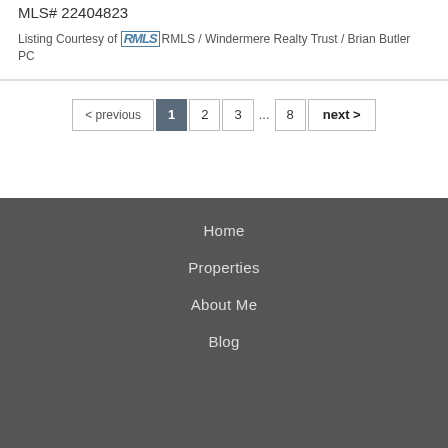MLS# 22404823
Listing Courtesy of RMLS / Windermere Realty Trust / Brian Butler PC
< previous  1  2  3  ...  8  next >
Home
Properties
About Me
Blog